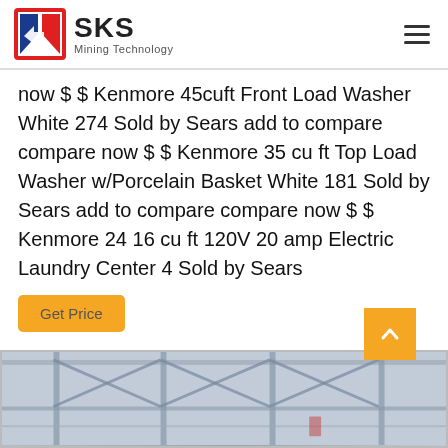SKS Mining Technology
now $ $ Kenmore 45cuft Front Load Washer White 274 Sold by Sears add to compare compare now $ $ Kenmore 35 cu ft Top Load Washer w/Porcelain Basket White 181 Sold by Sears add to compare compare now $ $ Kenmore 24 16 cu ft 120V 20 amp Electric Laundry Center 4 Sold by Sears
[Figure (photo): Interior of a large industrial steel-framed building or warehouse viewed from below, showing structural beams and crossbars.]